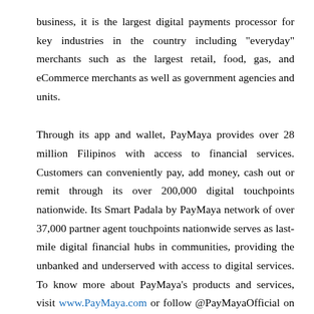business, it is the largest digital payments processor for key industries in the country including "everyday" merchants such as the largest retail, food, gas, and eCommerce merchants as well as government agencies and units.
Through its app and wallet, PayMaya provides over 28 million Filipinos with access to financial services. Customers can conveniently pay, add money, cash out or remit through its over 200,000 digital touchpoints nationwide. Its Smart Padala by PayMaya network of over 37,000 partner agent touchpoints nationwide serves as last-mile digital financial hubs in communities, providing the unbanked and underserved with access to digital services. To know more about PayMaya's products and services, visit www.PayMaya.com or follow @PayMayaOfficial on Facebook, Twitter, and Instagram.